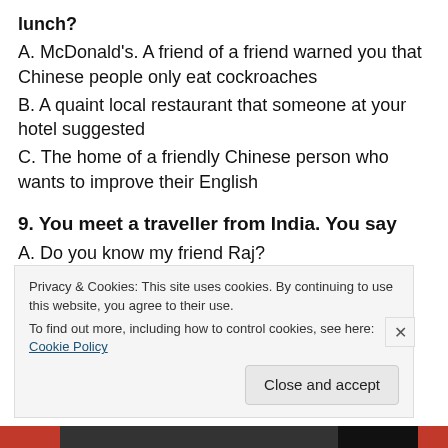lunch?
A. McDonald's. A friend of a friend warned you that Chinese people only eat cockroaches
B. A quaint local restaurant that someone at your hotel suggested
C. The home of a friendly Chinese person who wants to improve their English
9. You meet a traveller from India. You say
A. Do you know my friend Raj?
B. I would love to go there some day
Privacy & Cookies: This site uses cookies. By continuing to use this website, you agree to their use. To find out more, including how to control cookies, see here: Cookie Policy